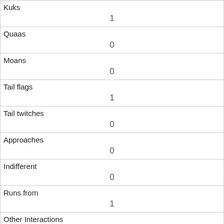| Kuks | 1 |
| Quaas | 0 |
| Moans | 0 |
| Tail flags | 1 |
| Tail twitches | 0 |
| Approaches | 0 |
| Indifferent | 0 |
| Runs from | 1 |
| Other Interactions |  |
| Lat/Long | POINT (-73.9763430829342 40.7686351097159) |